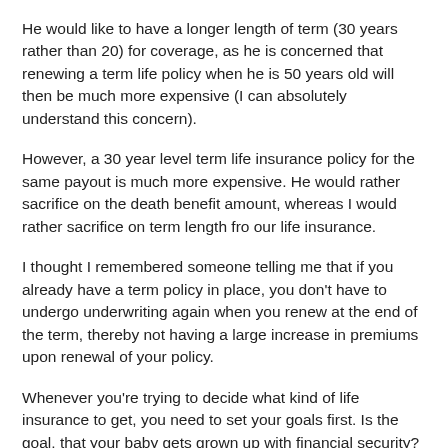He would like to have a longer length of term (30 years rather than 20) for coverage, as he is concerned that renewing a term life policy when he is 50 years old will then be much more expensive (I can absolutely understand this concern).
However, a 30 year level term life insurance policy for the same payout is much more expensive. He would rather sacrifice on the death benefit amount, whereas I would rather sacrifice on term length fro our life insurance.
I thought I remembered someone telling me that if you already have a term policy in place, you don't have to undergo underwriting again when you renew at the end of the term, thereby not having a large increase in premiums upon renewal of your policy.
Whenever you're trying to decide what kind of life insurance to get, you need to set your goals first. Is the goal, that your baby gets grown up with financial security? If so, 20 years should accomplish the task.
Rates for term life insurance are usually only guaranteed for up to 20